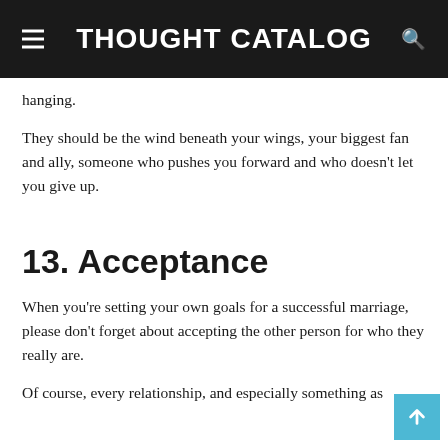THOUGHT CATALOG
hanging.
They should be the wind beneath your wings, your biggest fan and ally, someone who pushes you forward and who doesn't let you give up.
13. Acceptance
When you're setting your own goals for a successful marriage, please don't forget about accepting the other person for who they really are.
Of course, every relationship, and especially something as